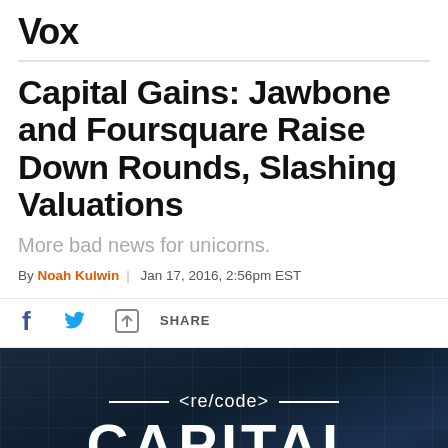Vox
Capital Gains: Jawbone and Foursquare Raise Down Rounds, Slashing Valuations
More bad news for unicorns.
By Noah Kulwin | Jan 17, 2016, 2:56pm EST
[Figure (screenshot): Social sharing bar with Facebook, Twitter, and share icons]
[Figure (photo): Dark blue financial background with grid pattern and recode Capital branding overlay showing <re/code> CAPITAL text in white]